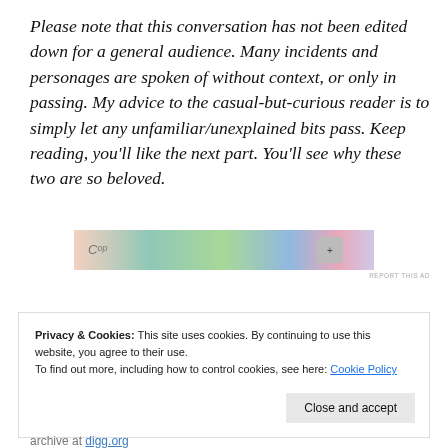Please note that this conversation has not been edited down for a general audience. Many incidents and personages are spoken of without context, or only in passing. My advice to the casual-but-curious reader is to simply let any unfamiliar/unexplained bits pass. Keep reading, you'll like the next part. You'll see why these two are so beloved.
[Figure (other): Partially visible advertisement banner with colorful background and a logo icon. Text 'REPORT THIS AD' appears below.]
Privacy & Cookies: This site uses cookies. By continuing to use this website, you agree to their use. To find out more, including how to control cookies, see here: Cookie Policy
Close and accept
archive at digg.org